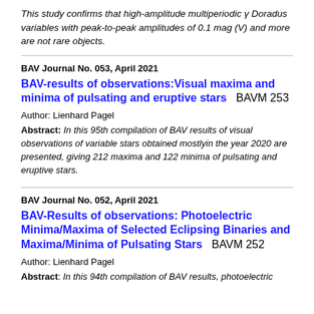This study confirms that high-amplitude multiperiodic γ Doradus variables with peak-to-peak amplitudes of 0.1 mag (V) and more are not rare objects.
BAV Journal No. 053, April 2021
BAV-results of observations:Visual maxima and minima of pulsating and eruptive stars   BAVM 253
Author: Lienhard Pagel
Abstract: In this 95th compilation of BAV results of visual observations of variable stars obtained mostlyin the year 2020 are presented, giving 212 maxima and 122 minima of pulsating and eruptive stars.
BAV Journal No. 052, April 2021
BAV-Results of observations: Photoelectric Minima/Maxima of Selected Eclipsing Binaries and Maxima/Minima of Pulsating Stars   BAVM 252
Author: Lienhard Pagel
Abstract: In this 94th compilation of BAV results, photoelectric